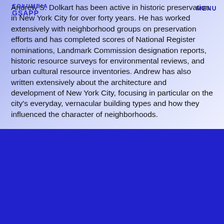COLUMBIA GSAAPP MENU
Andrew S. Dolkart has been active in historic preservation in New York City for over forty years. He has worked extensively with neighborhood groups on preservation efforts and has completed scores of National Register nominations, Landmark Commission designation reports, historic resource surveys for environmental reviews, and urban cultural resource inventories. Andrew has also written extensively about the architecture and development of New York City, focusing in particular on the city's everyday, vernacular building types and how they influenced the character of neighborhoods.
Close
This website uses cookies as well as similar tools and technologies to understand visitors' experiences. By continuing to use this website, you consent to Columbia University's usage of cookies and similar technologies, in accordance with the Columbia University Website Cookie Notice →